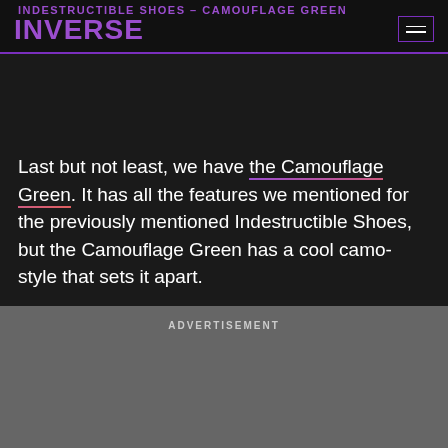INDESTRUCTIBLE SHOES – CAMOUFLAGE GREEN
[Figure (logo): INVERSE logo in purple with hamburger menu icon]
Last but not least, we have the Camouflage Green. It has all the features we mentioned for the previously mentioned Indestructible Shoes, but the Camouflage Green has a cool camo-style that sets it apart.
ADVERTISEMENT